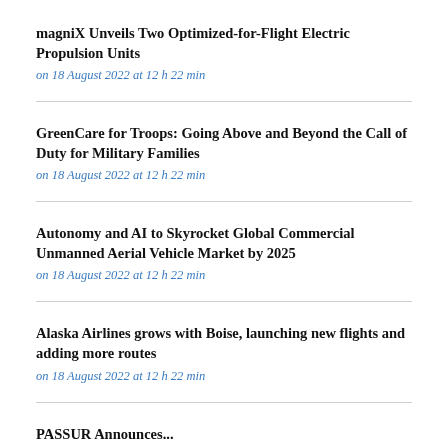magniX Unveils Two Optimized-for-Flight Electric Propulsion Units
on 18 August 2022 at 12 h 22 min
GreenCare for Troops: Going Above and Beyond the Call of Duty for Military Families
on 18 August 2022 at 12 h 22 min
Autonomy and AI to Skyrocket Global Commercial Unmanned Aerial Vehicle Market by 2025
on 18 August 2022 at 12 h 22 min
Alaska Airlines grows with Boise, launching new flights and adding more routes
on 18 August 2022 at 12 h 22 min
PASSUR Announces...